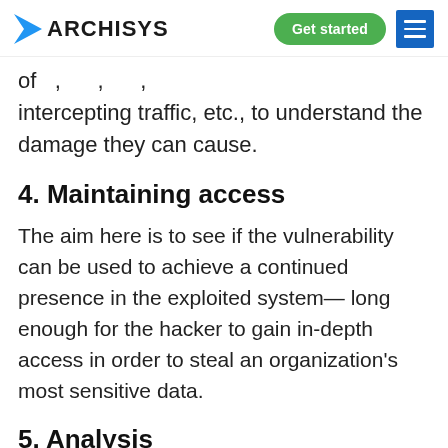ARCHISYS | Get started | Menu
of …, intercepting traffic, etc., to understand the damage they can cause.
4. Maintaining access
The aim here is to see if the vulnerability can be used to achieve a continued presence in the exploited system— long enough for the hacker to gain in-depth access in order to steal an organization's most sensitive data.
5. Analysis